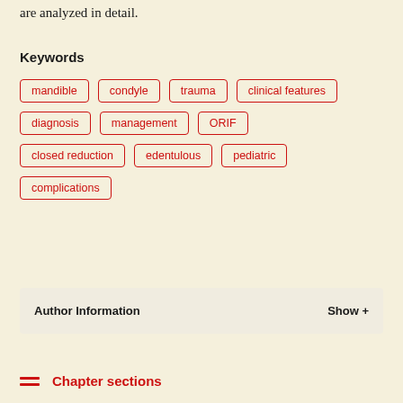are analyzed in detail.
Keywords
mandible
condyle
trauma
clinical features
diagnosis
management
ORIF
closed reduction
edentulous
pediatric
complications
Author Information   Show +
Chapter sections